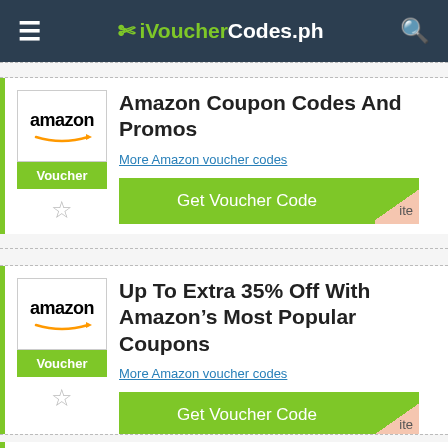iVoucherCodes.ph
Amazon Coupon Codes And Promos
More Amazon voucher codes
Get Voucher Code
Up To Extra 35% Off With Amazon's Most Popular Coupons
More Amazon voucher codes
Get Voucher Code